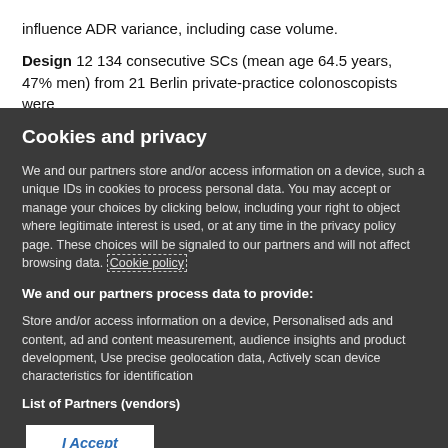influence ADR variance, including case volume.
Design 12 134 consecutive SCs (mean age 64.5 years, 47% men) from 21 Berlin private-practice colonoscopists were
Cookies and privacy
We and our partners store and/or access information on a device, such a unique IDs in cookies to process personal data. You may accept or manage your choices by clicking below, including your right to object where legitimate interest is used, or at any time in the privacy policy page. These choices will be signaled to our partners and will not affect browsing data. Cookie policy
We and our partners process data to provide:
Store and/or access information on a device, Personalised ads and content, ad and content measurement, audience insights and product development, Use precise geolocation data, Actively scan device characteristics for identification
List of Partners (vendors)
I Accept